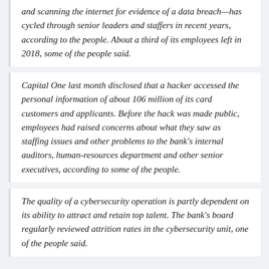and scanning the internet for evidence of a data breach—has cycled through senior leaders and staffers in recent years, according to the people. About a third of its employees left in 2018, some of the people said.
Capital One last month disclosed that a hacker accessed the personal information of about 106 million of its card customers and applicants. Before the hack was made public, employees had raised concerns about what they saw as staffing issues and other problems to the bank's internal auditors, human-resources department and other senior executives, according to some of the people.
The quality of a cybersecurity operation is partly dependent on its ability to attract and retain top talent. The bank's board regularly reviewed attrition rates in the cybersecurity unit, one of the people said.